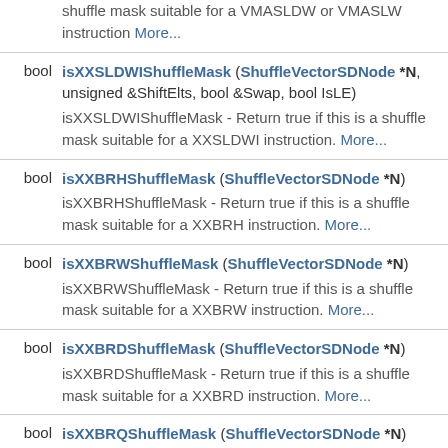shuffle mask suitable for a VMASLDW or VMASLW instruction More...
bool isXXSLDWIShuffleMask (ShuffleVectorSDNode *N, unsigned &ShiftElts, bool &Swap, bool IsLE) isXXSLDWIShuffleMask - Return true if this is a shuffle mask suitable for a XXSLDWI instruction. More...
bool isXXBRHShuffleMask (ShuffleVectorSDNode *N) isXXBRHShuffleMask - Return true if this is a shuffle mask suitable for a XXBRH instruction. More...
bool isXXBRWShuffleMask (ShuffleVectorSDNode *N) isXXBRWShuffleMask - Return true if this is a shuffle mask suitable for a XXBRW instruction. More...
bool isXXBRDShuffleMask (ShuffleVectorSDNode *N) isXXBRDShuffleMask - Return true if this is a shuffle mask suitable for a XXBRD instruction. More...
bool isXXBRQShuffleMask (ShuffleVectorSDNode *N) isXXBRQShuffleMask - Return true if this is a shuffle mask suitable for a XXBRQ instruction. More...